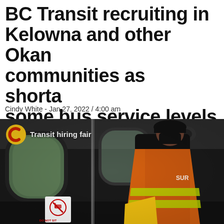BC Transit recruiting in Kelowna and other Okanagan communities as shortages cut some bus service levels
Cindy White - Jan 27, 2022 / 4:00 am
[Figure (photo): Video thumbnail showing a bus driver in an orange high-visibility vest standing inside a bus interior. A YouTube play button is overlaid in the center. The channel logo (Castanet, yellow C on gold circle) and text 'Transit hiring fair' appear in the top-left corner.]